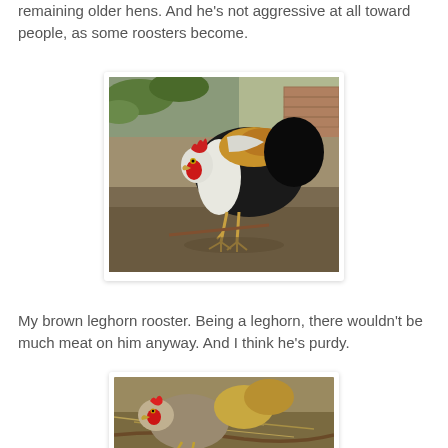remaining older hens. And he's not aggressive at all toward people, as some roosters become.
[Figure (photo): A rooster with black, white, and golden-brown feathers with a red comb, pecking at the ground in a dirt yard near a fence.]
My brown leghorn rooster. Being a leghorn, there wouldn't be much meat on him anyway. And I think he's purdy.
[Figure (photo): Partial view of a brown leghorn rooster with a red comb, standing on dry grass/straw ground.]